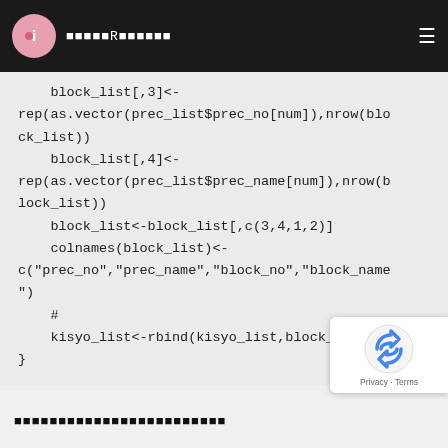■■■■■R■■■■■■
block_list[,3]<-
rep(as.vector(prec_list$prec_no[num]),nrow(block_list))
  block_list[,4]<-
rep(as.vector(prec_list$prec_name[num]),nrow(block_list))
  block_list<-block_list[,c(3,4,1,2)]
  colnames(block_list)<-
c("prec_no","prec_name","block_no","block_name")
  #
  kisyo_list<-rbind(kisyo_list,block_list)
}
■■■■■■■■■■■■■■■■■■■■■■